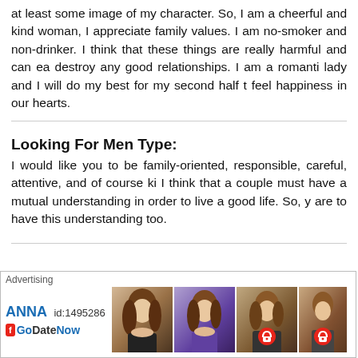at least some image of my character. So, I am a cheerful and kind woman, I appreciate family values. I am no-smoker and non-drinker. I think that these things are really harmful and can easily destroy any good relationships. I am a romantic lady and I will do my best for my second half to feel happiness in our hearts.
Looking For Men Type:
I would like you to be family-oriented, responsible, careful, attentive, and of course kind. I think that a couple must have a mutual understanding in order to live a good life. So, you are to have this understanding too.
[Figure (other): Advertising banner for GoDatenow with profile ANNA id:1495286 and three women photos, two with lock icons]